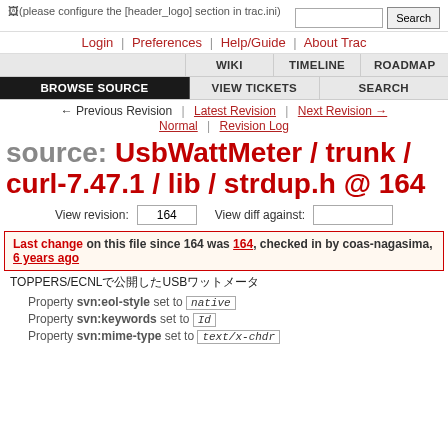[Figure (other): Trac logo placeholder: (please configure the [header_logo] section in trac.ini)]
Login | Preferences | Help/Guide | About Trac
WIKI | TIMELINE | ROADMAP
BROWSE SOURCE | VIEW TICKETS | SEARCH
← Previous Revision | Latest Revision | Next Revision → Normal | Revision Log
source: UsbWattMeter / trunk / curl-7.47.1 / lib / strdup.h @ 164
View revision: 164  View diff against:
Last change on this file since 164 was 164, checked in by coas-nagasima, 6 years ago
TOPPERS/ECNLで公開したUSBワットメータ
Property svn:eol-style set to native
Property svn:keywords set to Id
Property svn:mime-type set to text/x-chdr